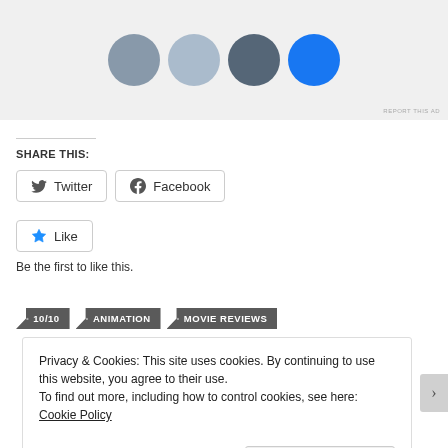[Figure (photo): Ad image area showing circular avatar photos of people and a blue circle button on a gray background]
REPORT THIS AD
SHARE THIS:
Twitter
Facebook
Like
Be the first to like this.
10/10
ANIMATION
MOVIE REVIEWS
Privacy & Cookies: This site uses cookies. By continuing to use this website, you agree to their use.
To find out more, including how to control cookies, see here: Cookie Policy
Close and accept